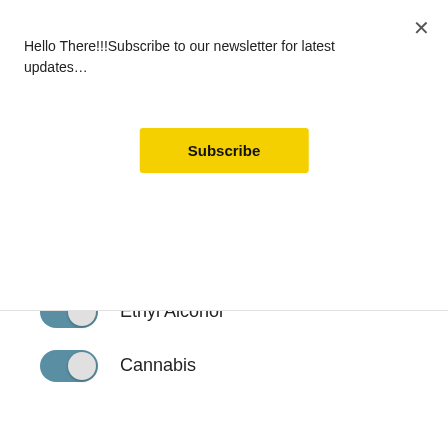Hello There!!!Subscribe to our newsletter for latest updates…
Subscribe
#11. KOZELAKA AND HINE METHOD IS USED FOR THE QUANTITATIVE ESTIMATION OF
Ethyl Alcohol
Cannabis